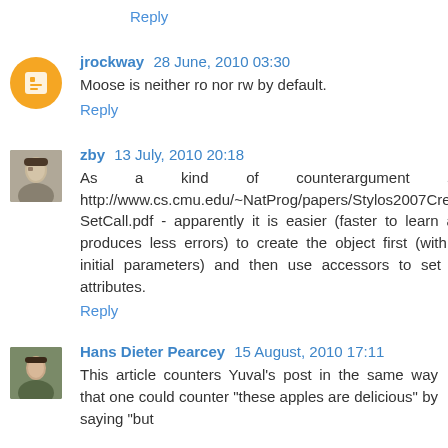Reply
jrockway 28 June, 2010 03:30
Moose is neither ro nor rw by default.
Reply
zby 13 July, 2010 20:18
As a kind of counterargument see http://www.cs.cmu.edu/~NatProg/papers/Stylos2007CreateSetCall.pdf - apparently it is easier (faster to learn and produces less errors) to create the object first (with no initial parameters) and then use accessors to set the attributes.
Reply
Hans Dieter Pearcey 15 August, 2010 17:11
This article counters Yuval's post in the same way that one could counter "these apples are delicious" by saying "but